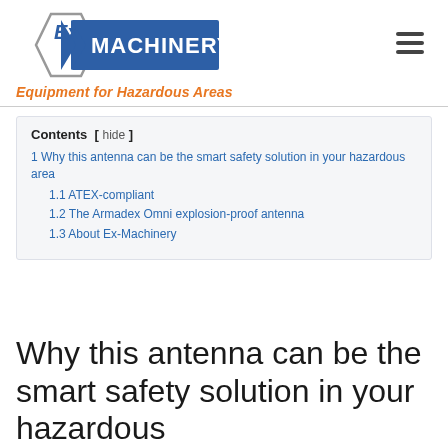[Figure (logo): Ex Machinery logo: hexagon shape with 'Ex' text and blue banner reading 'MACHINERY']
Equipment for Hazardous Areas
Contents [ hide ]
1 Why this antenna can be the smart safety solution in your hazardous area
1.1 ATEX-compliant
1.2 The Armadex Omni explosion-proof antenna
1.3 About Ex-Machinery
Why this antenna can be the smart safety solution in your hazardous